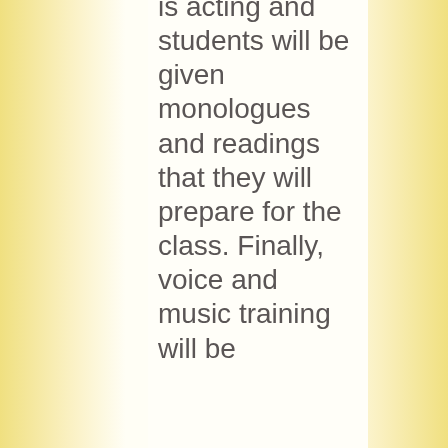is acting and students will be given monologues and readings that they will prepare for the class. Finally, voice and music training will be